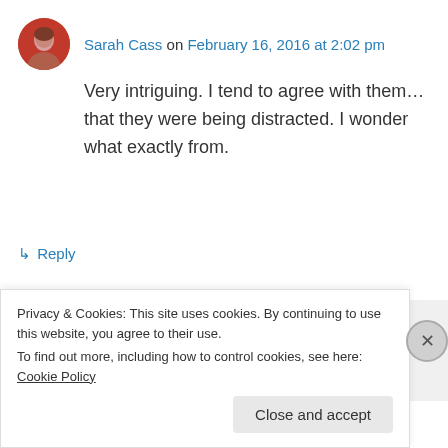Sarah Cass on February 16, 2016 at 2:02 pm
Very intriguing. I tend to agree with them...that they were being distracted. I wonder what exactly from.
↳ Reply
Author on February 16, 2016 at 2:15 pm
😐 you are sooo right!
Privacy & Cookies: This site uses cookies. By continuing to use this website, you agree to their use.
To find out more, including how to control cookies, see here: Cookie Policy
Close and accept